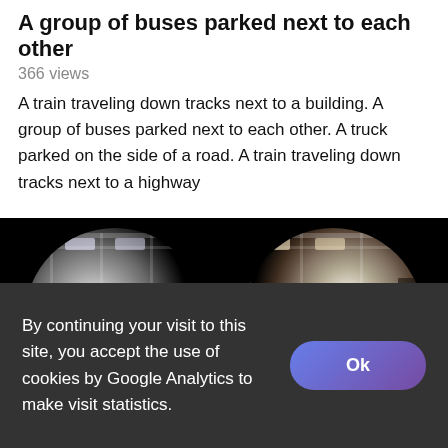A group of buses parked next to each other
366 views
A train traveling down tracks next to a building. A group of buses parked next to each other. A truck parked on the side of a road. A train traveling down tracks next to a highway
[Figure (photo): 360-degree panoramic photo shown as two fisheye lens circles on black background, depicting the interior of an office or public building — showing entrance doors, hallway, ceiling panels, and a reception counter area.]
By continuing your visit to this site, you accept the use of cookies by Google Analytics to make visit statistics.